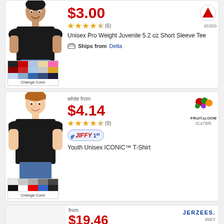[Figure (photo): Child wearing black t-shirt, product listing card 1, price $3.00, rating 4.5 stars (6 reviews), Unisex Pro Weight Juvenile 5.2 oz Short Sleeve Tee, Ships from Delta, item 65300]
[Figure (photo): Child wearing black t-shirt, product listing card 2, white from $4.14, rating 4.5 stars (9 reviews), Jiffy 1st badge, Youth Unisex ICONIC T-Shirt, Fruit of Loom IC47BR]
[Figure (photo): Third product listing card, from $19.46, Jerzees brand, item 995Y]